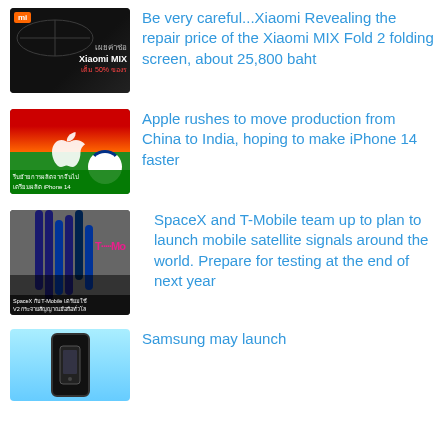[Figure (photo): Xiaomi MIX promotional image with dark background and Thai text overlay]
Be very careful...Xiaomi Revealing the repair price of the Xiaomi MIX Fold 2 folding screen, about 25,800 baht
[Figure (photo): Apple logo over Indian flag with Thai text overlay about moving production from China to India for iPhone 14]
Apple rushes to move production from China to India, hoping to make iPhone 14 faster
[Figure (photo): SpaceX and T-Mobile satellite cables image with Thai text overlay]
SpaceX and T-Mobile team up to plan to launch mobile satellite signals around the world. Prepare for testing at the end of next year
[Figure (photo): Samsung phone on teal background]
Samsung may launch